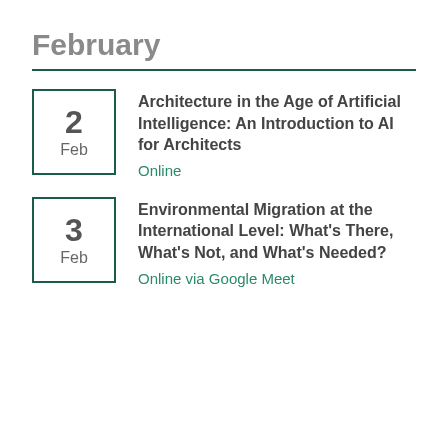February
2 Feb — Architecture in the Age of Artificial Intelligence: An Introduction to AI for Architects — Online
3 Feb — Environmental Migration at the International Level: What's There, What's Not, and What's Needed? — Online via Google Meet